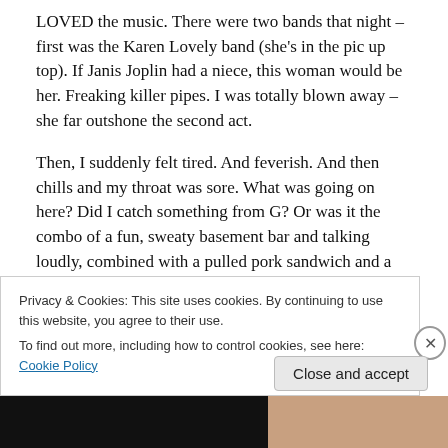LOVED the music.  There were two bands that night – first was the Karen Lovely band (she's in the pic up top).  If Janis Joplin had a niece, this woman would be her.  Freaking killer pipes.  I was totally blown away – she far outshone the second act.
Then, I suddenly felt tired.  And feverish. And then chills and my throat was sore. What was going on here? Did I catch something from G? Or was it the combo of a fun, sweaty basement bar and talking loudly, combined with a pulled pork sandwich and a couple of Stellas?
None.  I was coming down with a cold.  Who knows where it
Privacy & Cookies: This site uses cookies. By continuing to use this website, you agree to their use.
To find out more, including how to control cookies, see here: Cookie Policy
Close and accept